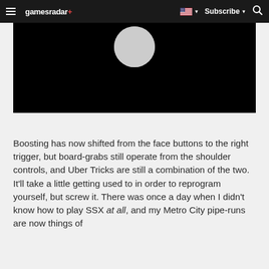gamesradar+ | Subscribe | Search
[Figure (screenshot): Black video player area with a gray circular play button shape at the top center]
Boosting has now shifted from the face buttons to the right trigger, but board-grabs still operate from the shoulder controls, and Uber Tricks are still a combination of the two. It'll take a little getting used to in order to reprogram yourself, but screw it. There was once a day when I didn't know how to play SSX at all, and my Metro City pipe-runs are now things of